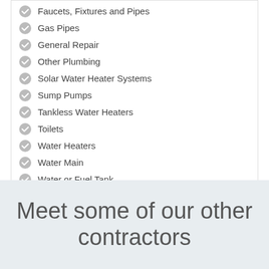Faucets, Fixtures and Pipes
Gas Pipes
General Repair
Other Plumbing
Solar Water Heater Systems
Sump Pumps
Tankless Water Heaters
Toilets
Water Heaters
Water Main
Water or Fuel Tank
Well Pump
Well Pump
Solar Water Heater System
Meet some of our other contractors